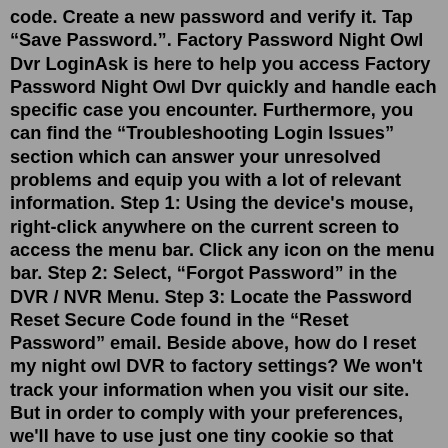code. Create a new password and verify it. Tap “Save Password.”. Factory Password Night Owl Dvr LoginAsk is here to help you access Factory Password Night Owl Dvr quickly and handle each specific case you encounter. Furthermore, you can find the “Troubleshooting Login Issues” section which can answer your unresolved problems and equip you with a lot of relevant information. Step 1: Using the device's mouse, right-click anywhere on the current screen to access the menu bar. Click any icon on the menu bar. Step 2: Select, “Forgot Password” in the DVR / NVR Menu. Step 3: Locate the Password Reset Secure Code found in the “Reset Password” email. Beside above, how do I reset my night owl DVR to factory settings? We won't track your information when you visit our site. But in order to comply with your preferences, we'll have to use just one tiny cookie so that you're not asked to make this choice again.A factory reset like this one reverts all data back to how it was from the factory including the router's account/username and password.A factory